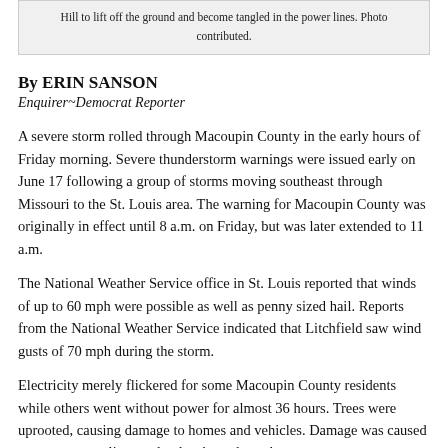Hill to lift off the ground and become tangled in the power lines. Photo contributed.
By ERIN SANSON
Enquirer~Democrat Reporter
A severe storm rolled through Macoupin County in the early hours of Friday morning. Severe thunderstorm warnings were issued early on June 17 following a group of storms moving southeast through Missouri to the St. Louis area. The warning for Macoupin County was originally in effect until 8 a.m. on Friday, but was later extended to 11 a.m.
The National Weather Service office in St. Louis reported that winds of up to 60 mph were possible as well as penny sized hail. Reports from the National Weather Service indicated that Litchfield saw wind gusts of 70 mph during the storm.
Electricity merely flickered for some Macoupin County residents while others went without power for almost 36 hours. Trees were uprooted, causing damage to homes and vehicles. Damage was caused to many power lines and poles throughout the area, trees,